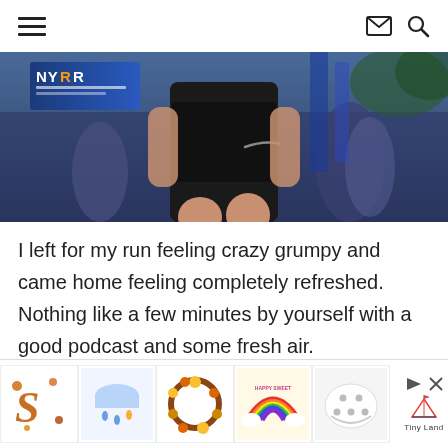Navigation header with hamburger menu, mail icon, and search icon
[Figure (photo): Photo of a runner at what appears to be a race event, showing lower body in black shorts, with NYRR banner visible in blue background]
I left for my run feeling crazy grumpy and came home feeling completely refreshed.  Nothing like a few minutes by yourself with a good podcast and some fresh air.
[Figure (infographic): Advertisement bar at the bottom showing 5 product thumbnail images (decorative letter S, cloud sticker, floral wreath, rainbow, white helmet/ball), with play/close controls and Tiny Land branding]